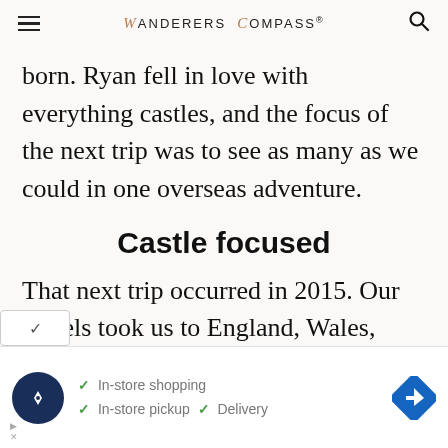WANDERERS COMPASS®
born. Ryan fell in love with everything castles, and the focus of the next trip was to see as many as we could in one overseas adventure.
Castle focused
That next trip occurred in 2015. Our travels took us to England, Wales, Scotland, Ireland, and Northern Ireland. We called it our Castle [rs Adventure. It was a mind-blowing trip
[Figure (infographic): Advertisement bar: Google Maps style navigation icon circle, checkmarks for In-store shopping, In-store pickup, Delivery, and a blue diamond navigation arrow icon]